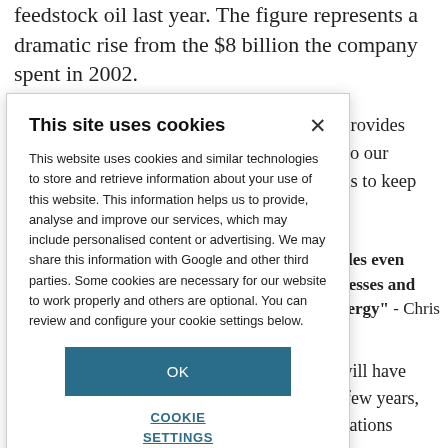feedstock oil last year. The figure represents a dramatic rise from the $8 billion the company spent in 2002.
o that provides ings into our t help us to keep
t provides even ur processes and ving energy" - Chris
ntries will have ithin a few years, at regulations n higher - which they use material.
[Figure (screenshot): Cookie consent modal dialog with title 'This site uses cookies', body text explaining cookie usage, an OK button, and a COOKIE SETTINGS link.]